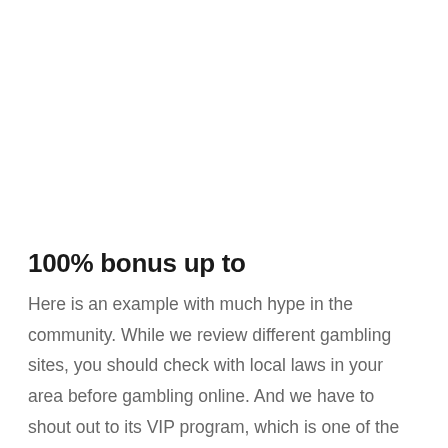100% bonus up to
Here is an example with much hype in the community. While we review different gambling sites, you should check with local laws in your area before gambling online. And we have to shout out to its VIP program, which is one of the most engaging we've seen. For the regular poker or slots player, his favourite games are enough for many months or even years of entertainment. Regardless of which game you use a strategy in, it is always important to stick to it